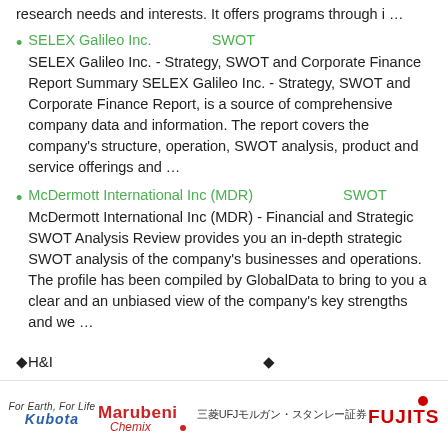research needs and interests. It offers programs through i …
SELEX Galileo Inc.　9　　9　9　9SWOT　9　9　9　9
SELEX Galileo Inc. - Strategy, SWOT and Corporate Finance Report Summary SELEX Galileo Inc. - Strategy, SWOT and Corporate Finance Report, is a source of comprehensive company data and information. The report covers the company's structure, operation, SWOT analysis, product and service offerings and …
McDermott International Inc (MDR)　9　9　9　9　9　9SWOT　9　9
McDermott International Inc (MDR) - Financial and Strategic SWOT Analysis Review provides you an in-depth strategic SWOT analysis of the company's businesses and operations. The profile has been compiled by GlobalData to bring to you a clear and an unbiased view of the company's key strengths and we …
◆H&I　9　9　9　9　9　9　9　9　9　9　9　9　9　9◆
[Figure (logo): Logos of Kubota, Marubeni Chemix, 三菱UFJモルガン・スタンレー証券, and Fujitsu]